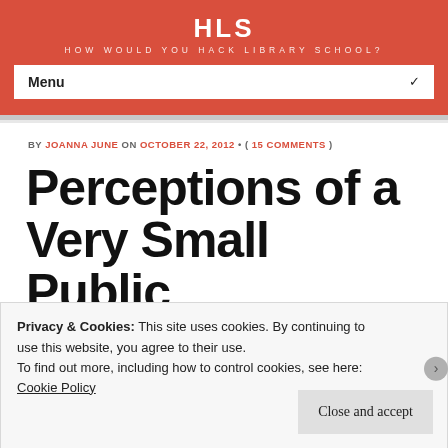HLS — HOW WOULD YOU HACK LIBRARY SCHOOL?
Menu
BY JOANNA JUNE ON OCTOBER 22, 2012 • ( 15 COMMENTS )
Perceptions of a Very Small Public
Privacy & Cookies: This site uses cookies. By continuing to use this website, you agree to their use.
To find out more, including how to control cookies, see here:
Cookie Policy
Close and accept